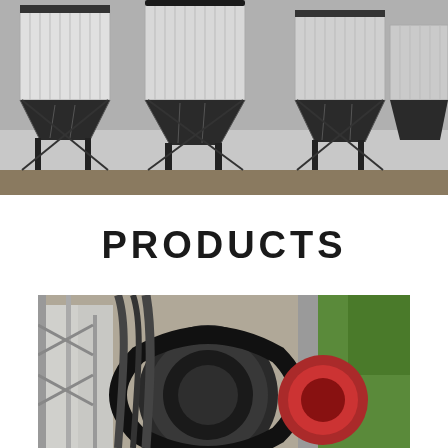[Figure (photo): Industrial dust collector silos with corrugated metal cylindrical tops and dark hopper bottoms on steel frames, multiple units in a row at an industrial facility.]
PRODUCTS
[Figure (photo): Close-up of industrial machinery showing belt drives, pulleys, and mechanical components inside a building with green trees visible outside.]